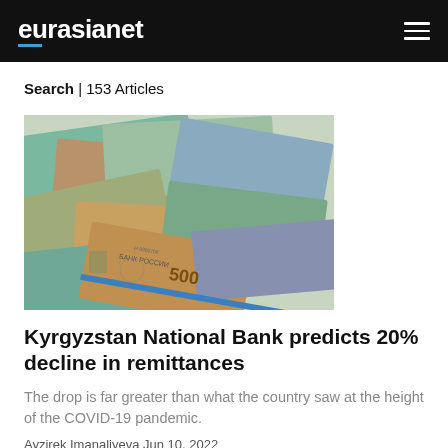eurasianet
Search | 153 Articles
[Figure (photo): A pile of Russian ruble banknotes scattered on a surface, showing 500 and other denomination bills, with БАНК РОССИИ (Bank of Russia) visible on some notes.]
Kyrgyzstan National Bank predicts 20% decline in remittances
The drop is far greater than what the country saw at the height of the COVID-19 pandemic.
Ayzirek Imanaliyeva Jun 10, 2022